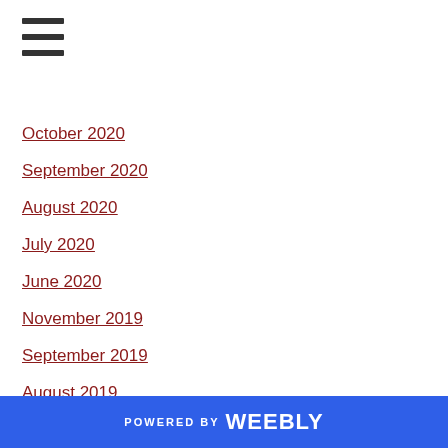[Figure (other): Hamburger menu icon with three horizontal bars]
October 2020
September 2020
August 2020
July 2020
June 2020
November 2019
September 2019
August 2019
July 2019
June 2019
May 2019
April 2019
March 2019
February 2019
POWERED BY weebly